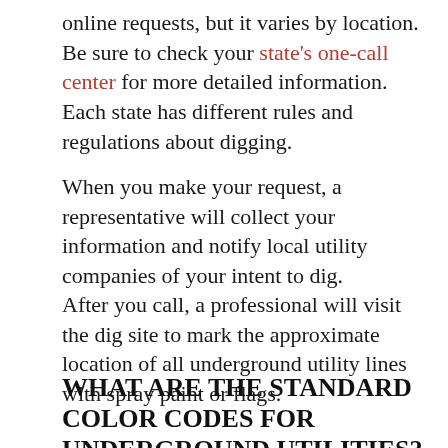online requests, but it varies by location. Be sure to check your state's one-call center for more detailed information. Each state has different rules and regulations about digging.
When you make your request, a representative will collect your information and notify local utility companies of your intent to dig.
After you call, a professional will visit the dig site to mark the approximate location of all underground utility lines with spray paint or flags.
WHAT ARE THE STANDARD COLOR CODES FOR UNDERGROUND UTILITIES?